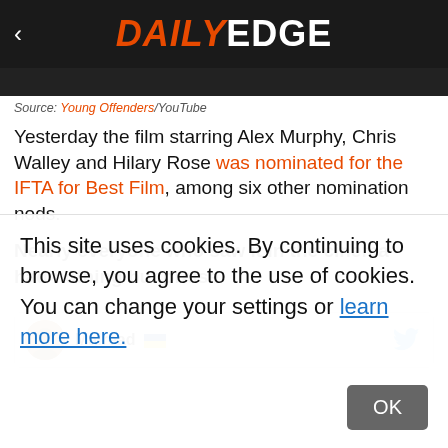DAILY EDGE
Source: Young Offenders/YouTube
Yesterday the film starring Alex Murphy, Chris Walley and Hilary Rose was nominated for the IFTA for Best Film, among six other nomination nods.
Nearly everyone who saw it in the cinema had nothing but praise
Mairéad
This site uses cookies. By continuing to browse, you agree to the use of cookies. You can change your settings or learn more here.